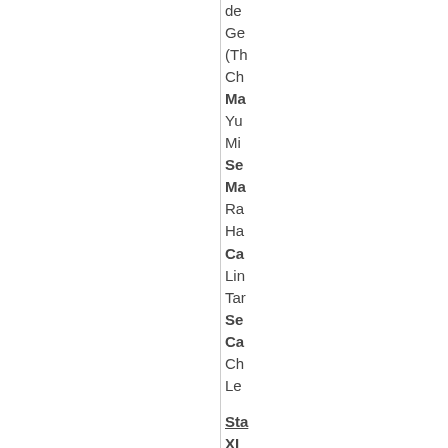de
Ge
(Th
Ch
Ma
Yu
Mi
Se
Ma
Ra
Ha
Ca
Lin
Tar
Se
Ca
Ch
Le

Sta
XI
GK
Th
Da
26